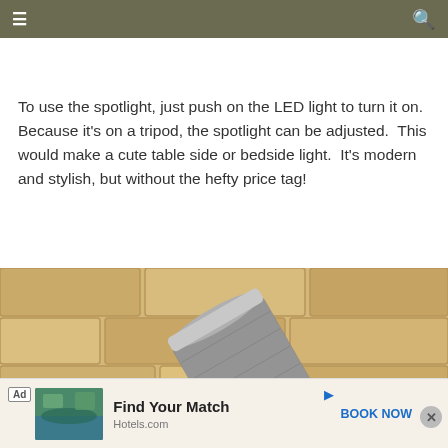≡  [search icon]
To use the spotlight, just push on the LED light to turn it on.  Because it's on a tripod, the spotlight can be adjusted.  This would make a cute table side or bedside light.  It's modern and stylish, but without the hefty price tag!
[Figure (photo): Close-up photo of a cylindrical silver metallic mesh spotlight lamp head against a sandy stone brick wall background]
[Figure (screenshot): Advertisement banner: Hotels.com ad with image of pool/resort, text 'Find Your Match', 'Hotels.com', 'BOOK NOW' CTA button, and close button]